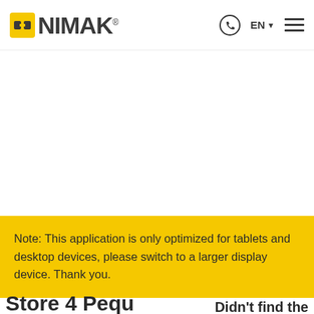NIMAK
Note: This application is only optimized for tablets and desktop devices, please switch to a larger display device. Thank you.
Store 4 Pequ... Didn't find the